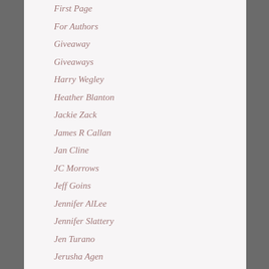First Page
For Authors
Giveaway
Giveaways
Harry Wegley
Heather Blanton
Jackie Zack
James R Callan
Jan Cline
JC Morrows
Jeff Goins
Jennifer AlLee
Jennifer Slattery
Jen Turano
Jerusha Agen
Jessica Snell
Joann Durgin
Jody Hedlund
Johnnie Alexander